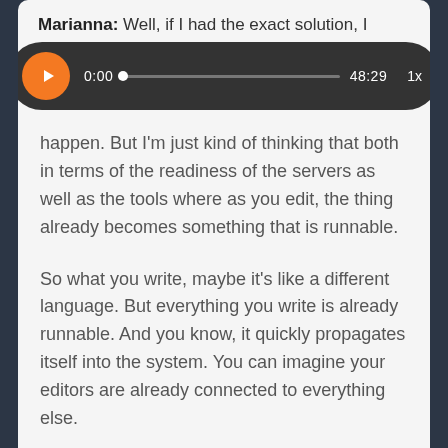Marianna: Well, if I had the exact solution, I
[Figure (screenshot): Audio player bar showing play button (orange circle with white triangle), current time 0:00, progress bar with dot at start, total duration 48:29, and playback speed 1x, on dark rounded rectangle background]
happen. But I'm just kind of thinking that both in terms of the readiness of the servers as well as the tools where as you edit, the thing already becomes something that is runnable.

So what you write, maybe it's like a different language. But everything you write is already runnable. And you know, it quickly propagates itself into the system. You can imagine your editors are already connected to everything else.